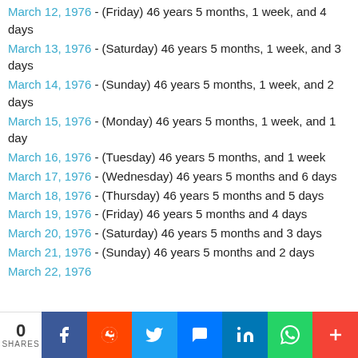March 12, 1976 - (Friday) 46 years 5 months, 1 week, and 4 days
March 13, 1976 - (Saturday) 46 years 5 months, 1 week, and 3 days
March 14, 1976 - (Sunday) 46 years 5 months, 1 week, and 2 days
March 15, 1976 - (Monday) 46 years 5 months, 1 week, and 1 day
March 16, 1976 - (Tuesday) 46 years 5 months, and 1 week
March 17, 1976 - (Wednesday) 46 years 5 months and 6 days
March 18, 1976 - (Thursday) 46 years 5 months and 5 days
March 19, 1976 - (Friday) 46 years 5 months and 4 days
March 20, 1976 - (Saturday) 46 years 5 months and 3 days
March 21, 1976 - (Sunday) 46 years 5 months and 2 days
March 22, 1976 - (Monday) 46 years 5 months and 1 day (partial)